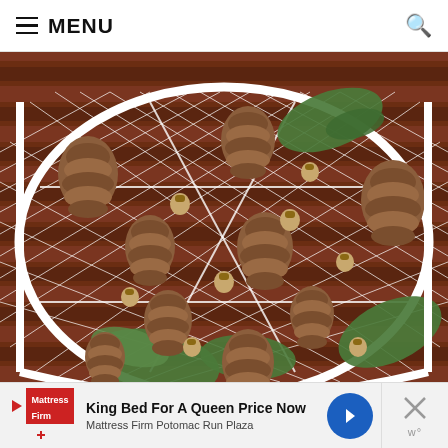≡ MENU
[Figure (photo): Overhead view of a white wire basket/tray on a dark wood surface containing pine cones, acorns, and green oak leaves scattered decoratively.]
King Bed For A Queen Price Now
Mattress Firm Potomac Run Plaza